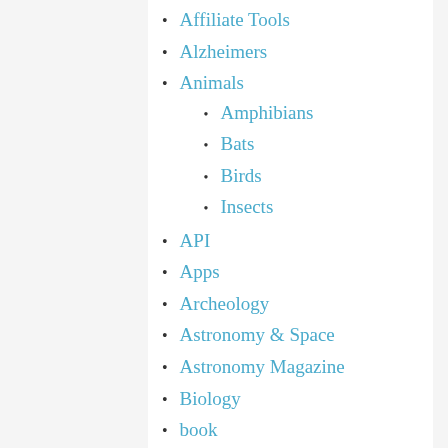Affiliate Tools
Alzheimers
Animals
Amphibians
Bats
Birds
Insects
API
Apps
Archeology
Astronomy & Space
Astronomy Magazine
Biology
book
Book Review
Calendar
Chemistry
Citizen Science
Citizen Science Day